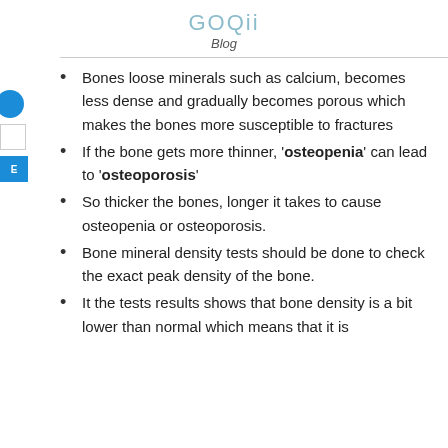GOQii
Blog
Bones loose minerals such as calcium, becomes less dense and gradually becomes porous which makes the bones more susceptible to fractures
If the bone gets more thinner, 'osteopenia' can lead to 'osteoporosis'
So thicker the bones, longer it takes to cause osteopenia or osteoporosis.
Bone mineral density tests should be done to check the exact peak density of the bone.
It the tests results shows that bone density is a bit lower than normal which means that it is the start of osteopenia or bone loss